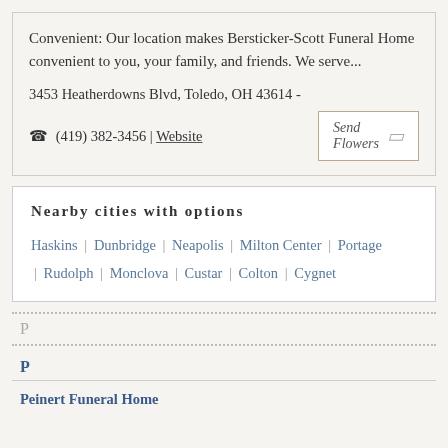Convenient: Our location makes Bersticker-Scott Funeral Home convenient to you, your family, and friends. We serve...
3453 Heatherdowns Blvd, Toledo, OH 43614 -
☎ (419) 382-3456 | Website
Send Flowers
Nearby cities with options
Haskins | Dunbridge | Neapolis | Milton Center | Portage | Rudolph | Monclova | Custar | Colton | Cygnet
P
P
Peinert Funeral Home